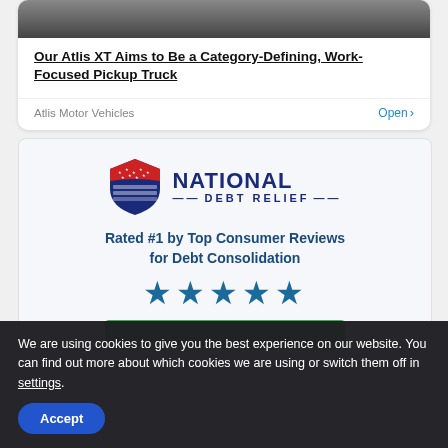[Figure (screenshot): Top portion of a vehicle (tire/wheel) advertisement card for Atlis Motor Vehicles]
Our Atlis XT Aims to Be a Category-Defining, Work-Focused Pickup Truck
Atlis Motor Vehicles
Open >
[Figure (logo): National Debt Relief logo with shield icon, red and blue colors]
Rated #1 by Top Consumer Reviews for Debt Consolidation
★★★★★
We are using cookies to give you the best experience on our website. You can find out more about which cookies we are using or switch them off in settings.
Accept